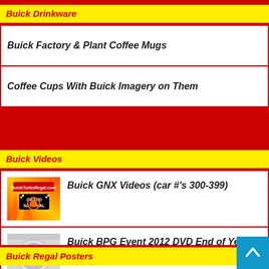Buick Drinkware
Buick Factory & Plant Coffee Mugs
Coffee Cups With Buick Imagery on Them
Buick Videos
[Figure (photo): BuickTurboRegal.com Grand National logo with flames]
Buick GNX Videos (car #'s 300-399)
[Figure (photo): DVD disc image]
Buick BPG Event 2012 DVD End of Year Sale!
Buick Regal Posters